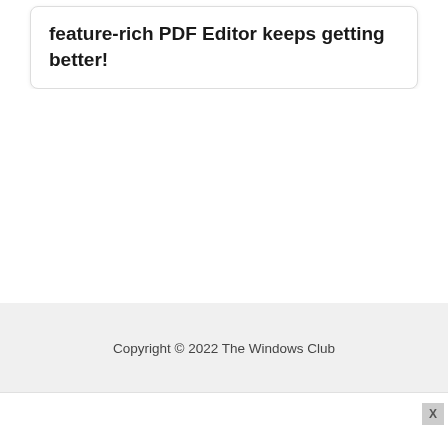feature-rich PDF Editor keeps getting better!
Copyright © 2022 The Windows Club